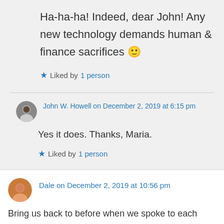Ha-ha-ha! Indeed, dear John! Any new technology demands human & finance sacrifices 🙂
Liked by 1 person
John W. Howell on December 2, 2019 at 6:15 pm
Yes it does. Thanks, Maria.
Liked by 1 person
Dale on December 2, 2019 at 10:56 pm
Bring us back to before when we spoke to each